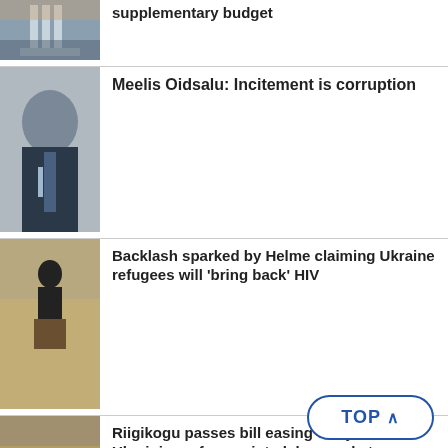[Figure (photo): Partial view of a classical building with columns in winter]
supplementary budget
[Figure (photo): Portrait of a man in a dark suit]
Meelis Oidsalu: Incitement is corruption
[Figure (photo): Man speaking at a podium in a formal chamber]
Backlash sparked by Helme claiming Ukraine refugees will 'bring back' HIV
[Figure (photo): View of parliamentary chamber with seated members]
Riigikogu passes bill easing entry of Ukrainian refugees into labor market
[Figure (photo): Man at a podium or stage, partially visible]
Gallery: Martin H... EKRE chairman...